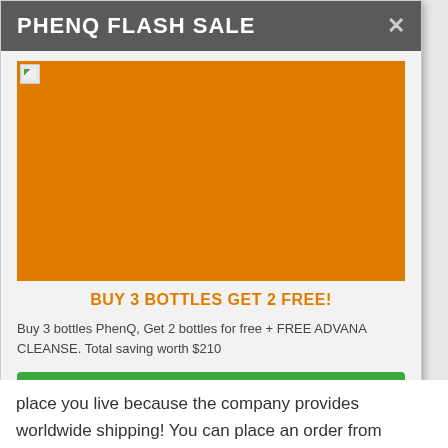PHENQ FLASH SALE
[Figure (illustration): Orange promotional banner image for PhenQ flash sale with broken image icon in top-left corner]
BUY 3 BOTTLES GET 2 FREE!
Buy 3 bottles PhenQ, Get 2 bottles for free + FREE ADVANA CLEANSE. Total saving worth $210
VISIT OFFICIAL STORE
place you live because the company provides
worldwide shipping! You can place an order from